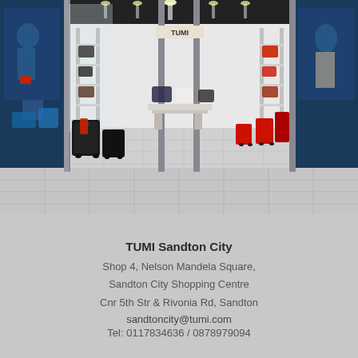[Figure (photo): Interior view of TUMI Sandton City store showing luggage, bags displayed on shelves and floor, with wide entrance doors open, advertising panels on sides showing models with TUMI bags, marble-look floor tiles.]
TUMI Sandton City
Shop 4, Nelson Mandela Square,
Sandton City Shopping Centre
Cnr 5th Str & Rivonia Rd, Sandton
sandtoncity@tumi.com
Tel: 0117834636 / 0878979094